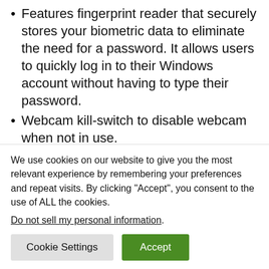Features fingerprint reader that securely stores your biometric data to eliminate the need for a password. It allows users to quickly log in to their Windows account without having to type their password.
Webcam kill-switch to disable webcam when not in use.
Secure bios for protection against malware and mic mute key so you can shut up your laptop when you need to
We use cookies on our website to give you the most relevant experience by remembering your preferences and repeat visits. By clicking “Accept”, you consent to the use of ALL the cookies.
Do not sell my personal information.